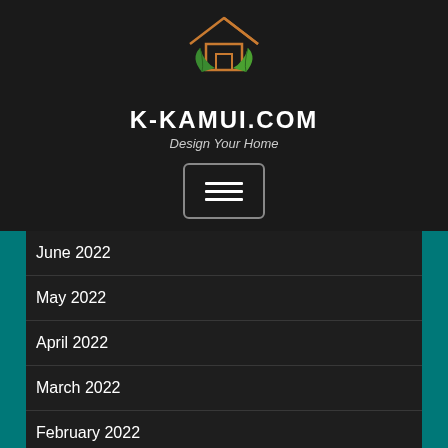[Figure (logo): House logo with green leaves and orange roof outline on dark background]
K-KAMUI.COM
Design Your Home
[Figure (other): Hamburger menu button with three horizontal lines, bordered rectangle]
June 2022
May 2022
April 2022
March 2022
February 2022
January 2022
December 2021